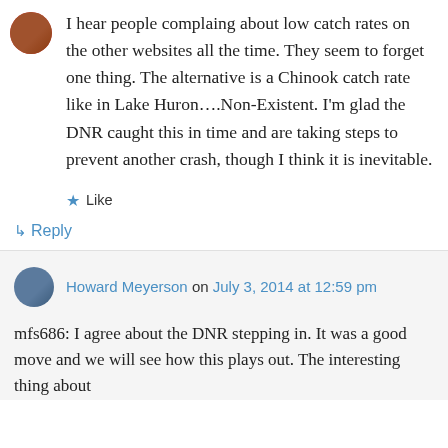I hear people complaing about low catch rates on the other websites all the time. They seem to forget one thing. The alternative is a Chinook catch rate like in Lake Huron….Non-Existent. I'm glad the DNR caught this in time and are taking steps to prevent another crash, though I think it is inevitable.
★ Like
↳ Reply
Howard Meyerson on July 3, 2014 at 12:59 pm
mfs686: I agree about the DNR stepping in. It was a good move and we will see how this plays out. The interesting thing about